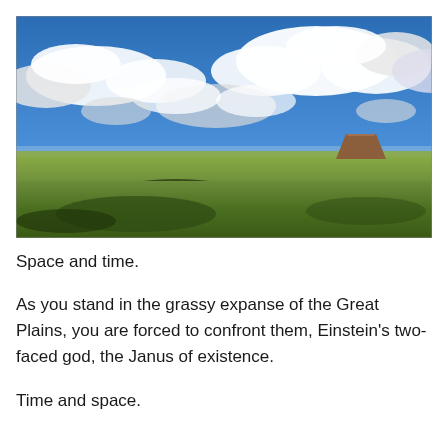[Figure (photo): Wide landscape photograph of the Great Plains under a bright blue sky with scattered white clouds. In the middle distance is a flat-topped mesa or butte with reddish coloring. The foreground is green grassland with some dark shrubs and rolling terrain.]
Space and time.
As you stand in the grassy expanse of the Great Plains, you are forced to confront them, Einstein’s two-faced god, the Janus of existence.
Time and space.